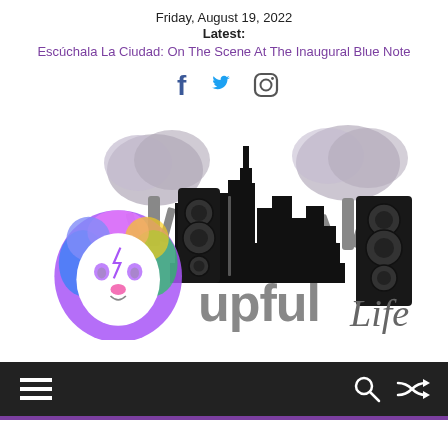Friday, August 19, 2022
Latest:
Escúchala La Ciudad: On The Scene At The Inaugural Blue Note
[Figure (logo): Social media icons: Facebook, Twitter, Instagram]
[Figure (logo): Upful Life logo: rainbow lion head with city skyline silhouette, trees, and speaker stacks, text reads 'upful Life']
[Figure (infographic): Dark navigation bar with hamburger menu icon on left, search and shuffle icons on right]